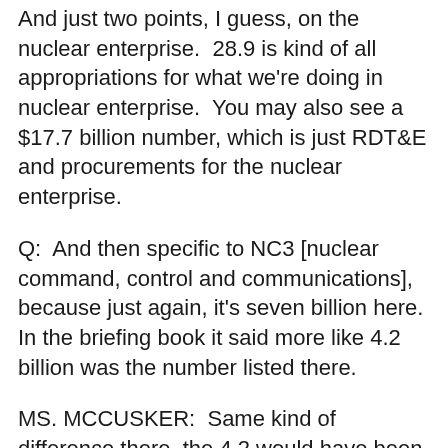And just two points, I guess, on the nuclear enterprise.  28.9 is kind of all appropriations for what we're doing in nuclear enterprise.  You may also see a $17.7 billion number, which is just RDT&E and procurements for the nuclear enterprise.
Q:  And then specific to NC3 [nuclear command, control and communications], because just again, it's seven billion here.  In the briefing book it said more like 4.2 billion was the number listed there.
MS. MCCUSKER:  Same kind of difference there, the 4.2 would have been procurement and RDT&E, and the seven is everything that goes into that effort.*